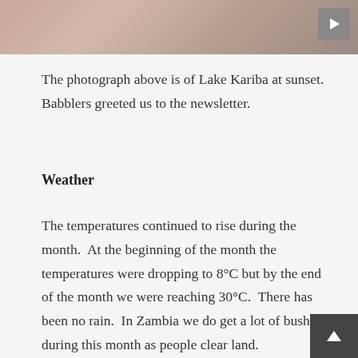[Figure (photo): Photograph of Lake Kariba at sunset — warm pink and brown tones across the top of the page]
The photograph above is of Lake Kariba at sunset.  Babblers greeted us to the newsletter.
Weather
The temperatures continued to rise during the month.  At the beginning of the month the temperatures were dropping to 8°C but by the end of the month we were reaching 30°C.  There has been no rain.  In Zambia we do get a lot of bushfires during this month as people clear land.